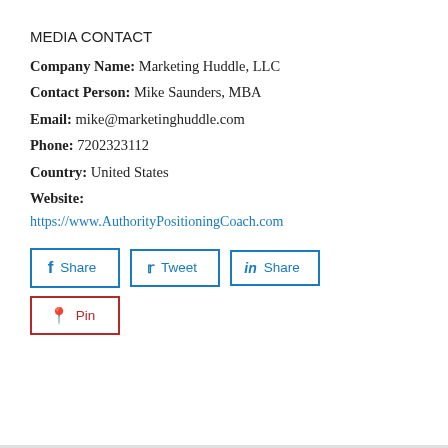MEDIA CONTACT
Company Name: Marketing Huddle, LLC
Contact Person: Mike Saunders, MBA
Email: mike@marketinghuddle.com
Phone: 7202323112
Country: United States
Website:
https://www.AuthorityPositioningCoach.com
[Figure (other): Social share buttons: Facebook Share, Twitter Tweet, LinkedIn Share, Pinterest Pin]